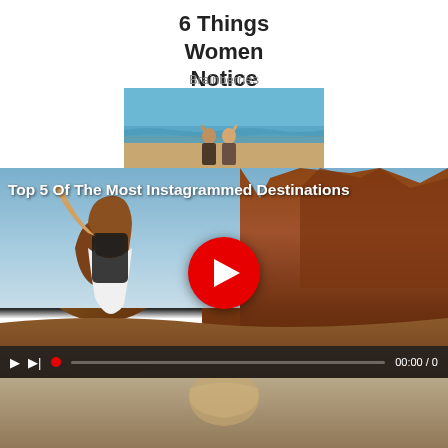6 Things Women Notice About Men
Brainberries
[Figure (photo): Couple kissing at the beach with ocean waves in background]
[Figure (screenshot): Video player showing 'Top 5 Of The Most Instagrammed Destinations' with desert landscape and woman with arms raised, red play button in center, video controls at bottom showing 00:00/0]
[Figure (photo): Partial image at bottom of page showing another scene]